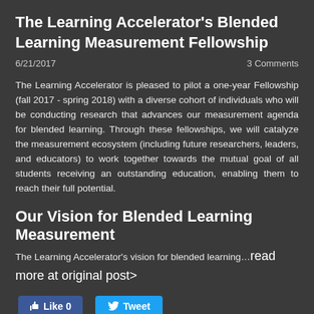The Learning Accelerator's Blended Learning Measurement Fellowship
6/21/2017    3 Comments
The Learning Accelerator is pleased to pilot a one-year Fellowship (fall 2017 - spring 2018) with a diverse cohort of individuals who will be conducting research that advances our measurement agenda for blended learning. Through these fellowships, we will catalyze the measurement ecosystem (including future researchers, leaders, and educators) to work together towards the mutual goal of all students receiving an outstanding education, enabling them to reach their full potential.
Our Vision for Blended Learning Measurement
The Learning Accelerator's vision for blended learning…read more at original post>
Like 0   Tweet
3 Comments